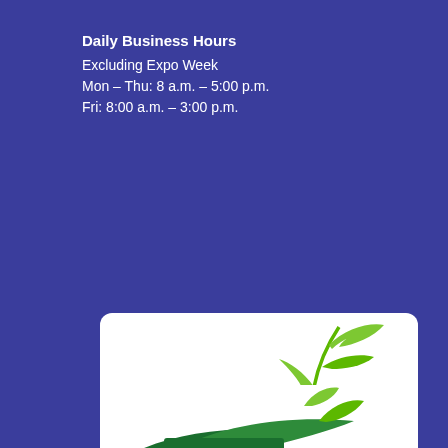Daily Business Hours
Excluding Expo Week
Mon – Thu: 8 a.m. – 5:00 p.m.
Fri: 8:00 a.m. – 3:00 p.m.
[Figure (logo): Farm Show Council logo: green sprouting plant with two leaves above, bold brown text 'farm show council', and green curved leaf/field shapes below]
[Figure (logo): Partially visible logo at bottom of page, showing green leaf elements on white background]